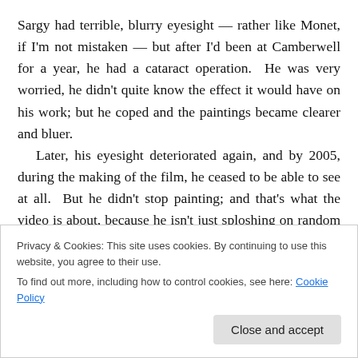Sargy had terrible, blurry eyesight — rather like Monet, if I'm not mistaken — but after I'd been at Camberwell for a year, he had a cataract operation. He was very worried, he didn't quite know the effect it would have on his work; but he coped and the paintings became clearer and bluer. Later, his eyesight deteriorated again, and by 2005, during the making of the film, he ceased to be able to see at all. But he didn't stop painting; and that's what the video is about, because he isn't just sploshing on random patches of random colour. It shows that if you paint from
Privacy & Cookies: This site uses cookies. By continuing to use this website, you agree to their use.
To find out more, including how to control cookies, see here: Cookie Policy
Close and accept